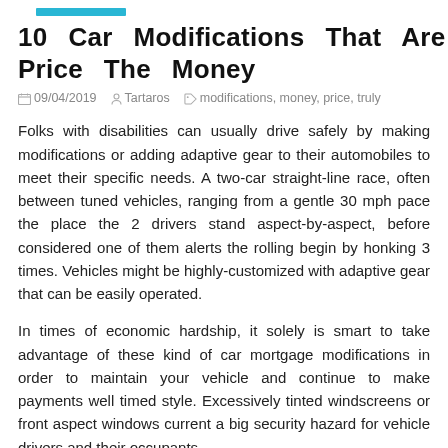[Figure (other): Teal/cyan horizontal bar decoration at top of article]
10 Car Modifications That Are Truly Price The Money
09/04/2019   Tartaros   modifications, money, price, truly
Folks with disabilities can usually drive safely by making modifications or adding adaptive gear to their automobiles to meet their specific needs. A two-car straight-line race, often between tuned vehicles, ranging from a gentle 30 mph pace the place the 2 drivers stand aspect-by-aspect, before considered one of them alerts the rolling begin by honking 3 times. Vehicles might be highly-customized with adaptive gear that can be easily operated.
In times of economic hardship, it solely is smart to take advantage of these kind of car mortgage modifications in order to maintain your vehicle and continue to make payments well timed style. Excessively tinted windscreens or front aspect windows current a big security hazard for vehicle drivers and their occupants.